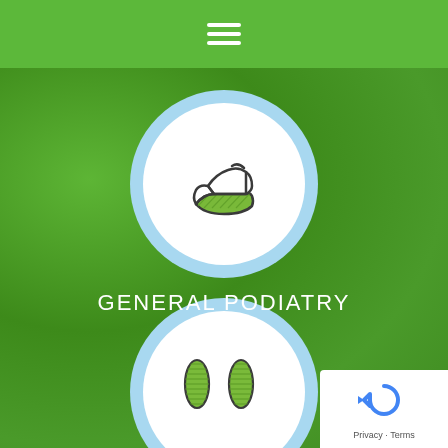[Figure (screenshot): Green navigation bar with hamburger menu icon (three white horizontal lines)]
[Figure (illustration): Circular icon with light blue border and white background containing a green foot/heel illustration viewed from the side]
GENERAL PODIATRY
[Figure (illustration): Circular icon with light blue border and white background containing two green footprint/insole illustrations]
[Figure (logo): Google reCAPTCHA badge in bottom right corner showing Privacy and Terms links]